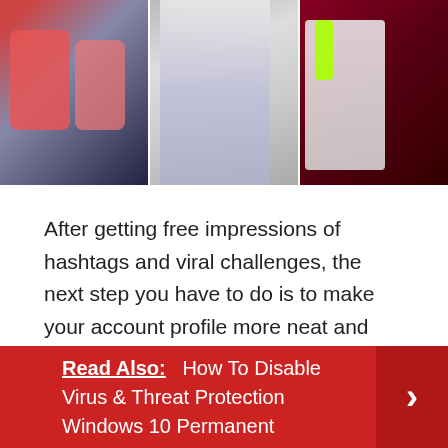[Figure (photo): Three side-by-side photos: left shows two people in colorful outfits (pink/red vests), center shows a close-up of a young woman in a sparkly silver outfit, right shows a person in white pants with a neon green accessory against a red background.]
After getting free impressions of hashtags and viral challenges, the next step you have to do is to make your account profile more neat and attractive.
A neatly arranged profile will make it easier for people to follow your account. Make sure you fill in your bio, name, and don't forget to link other social media accounts, especially the Instagram account.
Read Also:   How To Disable Virus & Threat Protection Windows 10 Permanent